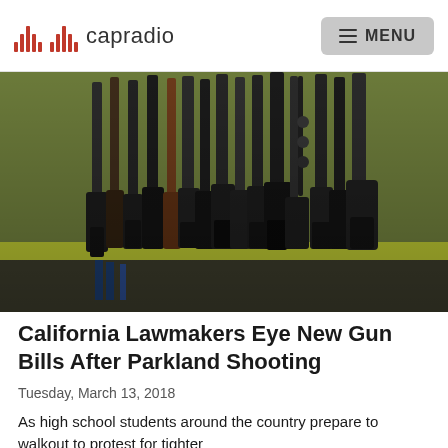capradio | MENU
[Figure (photo): Rows of rifles and shotguns displayed on a bright yellow-green rack on a wall in a gun store]
California Lawmakers Eye New Gun Bills After Parkland Shooting
Tuesday, March 13, 2018
As high school students around the country prepare to walkout to protest for tighter